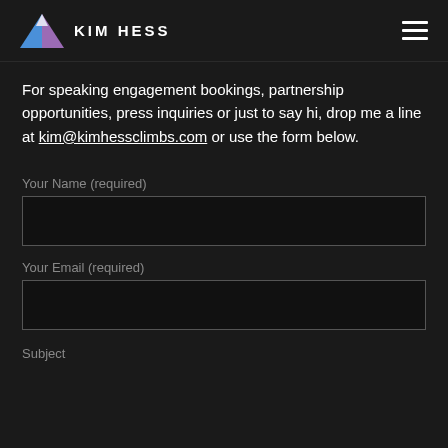[Figure (logo): Kim Hess logo with blue/purple mountain triangle and text KIM HESS in white]
For speaking engagement bookings, partnership opportunities, press inquiries or just to say hi, drop me a line at kim@kimhessclimbs.com or use the form below.
Your Name (required)
Your Email (required)
Subject